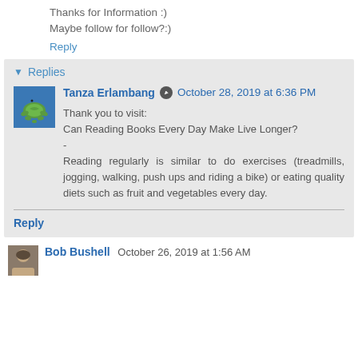Thanks for Information :)
Maybe follow for follow?:)
Reply
Replies
Tanza Erlambang  October 28, 2019 at 6:36 PM
Thank you to visit:
Can Reading Books Every Day Make Live Longer?
-
Reading regularly is similar to do exercises (treadmills, jogging, walking, push ups and riding a bike) or eating quality diets such as fruit and vegetables every day.
Reply
Bob Bushell  October 26, 2019 at 1:56 AM